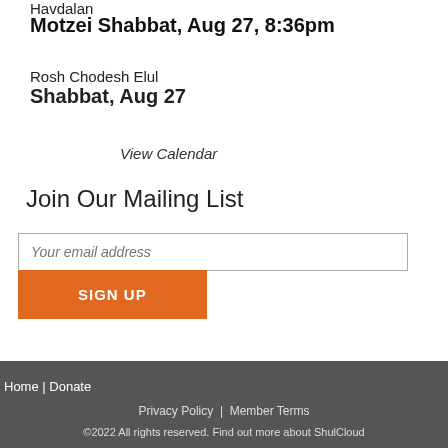Havdalah
Motzei Shabbat, Aug 27, 8:36pm
Rosh Chodesh Elul
Shabbat, Aug 27
View Calendar
Join Our Mailing List
Your email address
SIGN UP
Home | Donate   Privacy Policy | Member Terms   ©2022 All rights reserved. Find out more about ShulCloud